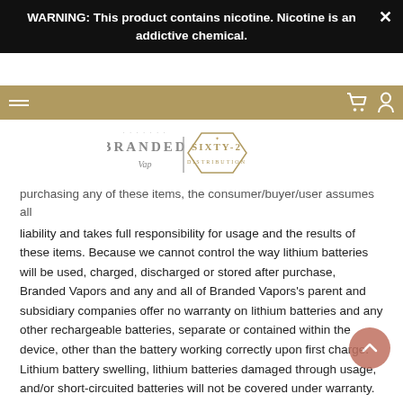WARNING: This product contains nicotine. Nicotine is an addictive chemical.
[Figure (logo): Branded Vapors / SIXTY-2 logo with decorative serif text and divider]
purchasing any of these items, the consumer/buyer/user assumes all liability and takes full responsibility for usage and the results of these items. Because we cannot control the way lithium batteries will be used, charged, discharged or stored after purchase, Branded Vapors and any and all of Branded Vapors's parent and subsidiary companies offer no warranty on lithium batteries and any other rechargeable batteries, separate or contained within the device, other than the battery working correctly upon first charge. Lithium battery swelling, lithium batteries damaged through usage, and/or short-circuited batteries will not be covered under warranty. Use lithium and rechargeable batteries and devices containing lithium rechargeable devices at your own risk. These products contain a chemical known to the state of California to cause cancer and birth defects or other reproductive harm.